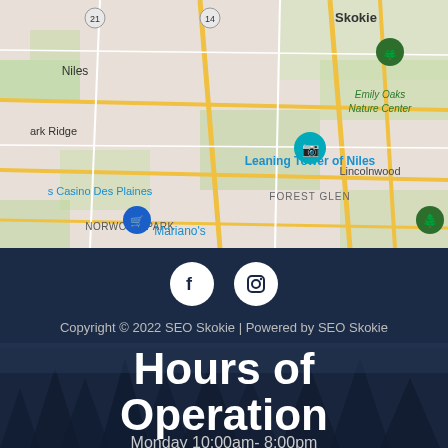[Figure (map): Google Maps screenshot showing Niles, IL area with landmarks including Leaning Tower of Niles, Emily Oaks Nature Center, Forest Glen, Lincolnwood, Park Ridge, and markers for Mariano's and a location pin. Roads and green areas visible.]
[Figure (other): Social media icons: Facebook (f) and Instagram (camera) as white circles on dark navy background]
Copyright © 2022 SEO Skokie | Powered by SEO Skokie
Hours of Operation
Monday 10:00am- 8:00pm